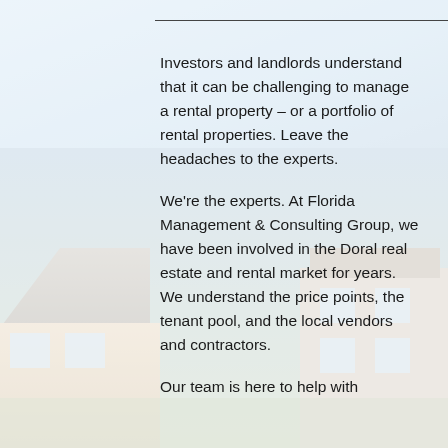[Figure (photo): Background photo of a residential house with a light blue sky, showing the roof and facade of a single-family home. A semi-transparent white overlay sits on top.]
Investors and landlords understand that it can be challenging to manage a rental property – or a portfolio of rental properties. Leave the headaches to the experts.
We're the experts. At Florida Management & Consulting Group, we have been involved in the Doral real estate and rental market for years. We understand the price points, the tenant pool, and the local vendors and contractors.
Our team is here to help with